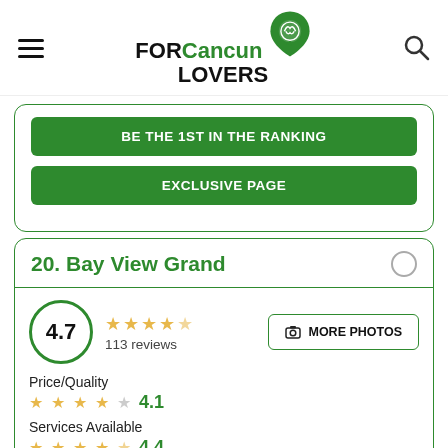FOR Cancun LOVERS
BE THE 1ST IN THE RANKING
EXCLUSIVE PAGE
20. Bay View Grand
4.7 — 113 reviews
Price/Quality 4.1
Services Available 4.4
Location Possibility 4.5